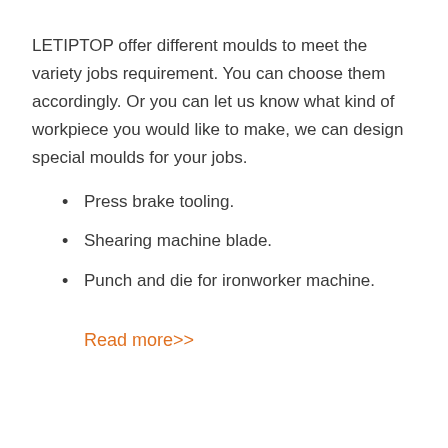LETIPTOP offer different moulds to meet the variety jobs requirement. You can choose them accordingly. Or you can let us know what kind of workpiece you would like to make, we can design special moulds for your jobs.
Press brake tooling.
Shearing machine blade.
Punch and die for ironworker machine.
Read more>>